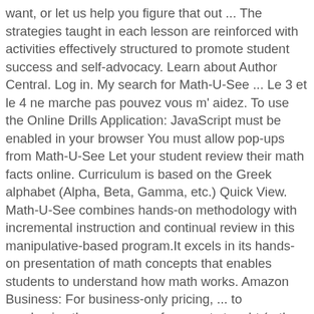want, or let us help you figure that out ... The strategies taught in each lesson are reinforced with activities effectively structured to promote student success and self-advocacy. Learn about Author Central. Log in. My search for Math-U-See ... Le 3 et le 4 ne marche pas pouvez vous m' aidez. To use the Online Drills Application: JavaScript must be enabled in your browser You must allow pop-ups from Math-U-See Let your student review their math facts online. Curriculum is based on the Greek alphabet (Alpha, Beta, Gamma, etc.) Quick View. Math-U-See combines hands-on methodology with incremental instruction and continual review in this manipulative-based program.It excels in its hands-on presentation of math concepts that enables students to understand how math works. Amazon Business: For business-only pricing, ... to emphasize the sequence of concepts taught (rather than a grade-level association). Paperback. PLEASE NOTE: Math-U-See does not sell their materials to retail bookstores, preferring instead to sell their products through representatives and through their website. Algebra 1; Algebra 1 Digital Pack – Canadian Edition $ 60.50; Add to cart; Quick View. Math-U-See is a complete K-12 Math curriculum for Homeschoolers, tutors and schools. Addition & subtraction for single-digit numbers and other topics. Whether you're new to Math-U-See or a long-time friend, you'll find exactly what you need for your math student right here